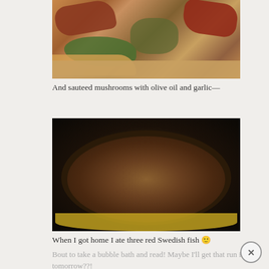[Figure (photo): Food photo showing open-faced sandwiches or bruschetta with cured meat, arugula/lettuce, and olives on a wooden cutting board]
And sauteed mushrooms with olive oil and garlic—
[Figure (photo): Photo of sauteed mushrooms in a cast iron skillet on a yellow plate]
When I got home I ate three red Swedish fish 🙂
Bout to take a bubble bath and read! Maybe I'll get that run in tomorrow??!